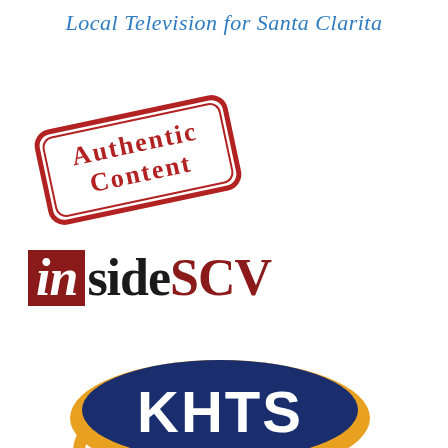Local Television for Santa Clarita
[Figure (logo): Authentic Content stamp logo - red rounded rectangle stamp rotated slightly counterclockwise with serif text reading 'Authentic Content']
[Figure (logo): insideSCV logo - 'in' in white on dark red/maroon background box, 'side' in bold black serif, 'SCV' in dark red bold serif]
[Figure (logo): KHTS radio/TV station logo - dark blue and gold swoosh ellipse design with 'KHTS' in large white letters on dark blue background, partially cropped at bottom]